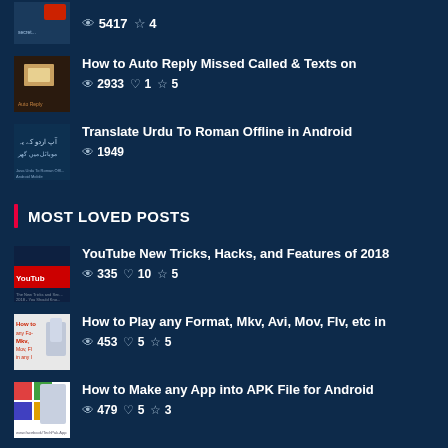5417 views  4 stars
How to Auto Reply Missed Called & Texts on  —  2933 views  1 likes  5 stars
Translate Urdu To Roman Offline in Android  —  1949 views
MOST LOVED POSTS
YouTube New Tricks, Hacks, and Features of 2018  —  335 views  10 likes  5 stars
How to Play any Format, Mkv, Avi, Mov, Flv, etc in  —  453 views  5 likes  5 stars
How to Make any App into APK File for Android  —  479 views  5 likes  3 stars
Apple Pays Millions to Woman in Compensation